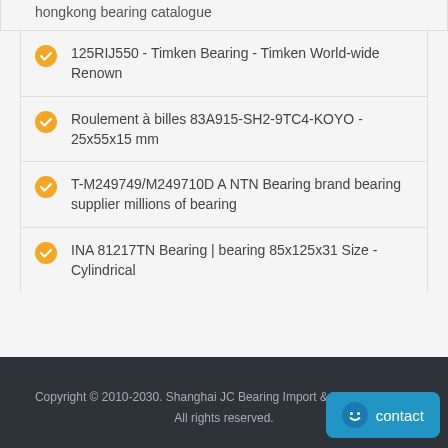hongkong bearing catalogue
125RIJ550 - Timken Bearing - Timken World-wide Renown
Roulement à billes 83A915-SH2-9TC4-KOYO - 25x55x15 mm
T-M249749/M249710D A NTN Bearing brand bearing supplier millions of bearing
INA 81217TN Bearing | bearing 85x125x31 Size - Cylindrical
Copyright © 2010-2030. Shanghai JC Bearing Import & Export Co.,LTD
All rights reserved.